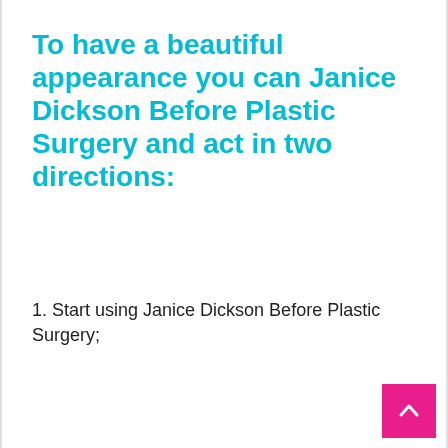To have a beautiful appearance you can Janice Dickson Before Plastic Surgery and act in two directions:
1. Start using Janice Dickson Before Plastic Surgery;